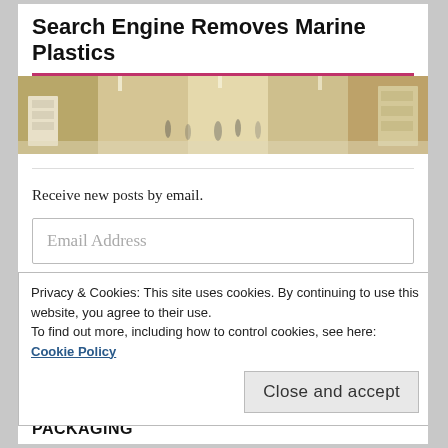Search Engine Removes Marine Plastics
[Figure (photo): Interior photo of a shopping mall or retail space with people walking around display counters]
Receive new posts by email.
Email Address
Privacy & Cookies: This site uses cookies. By continuing to use this website, you agree to their use.
To find out more, including how to control cookies, see here: Cookie Policy
Close and accept
PACKAGING